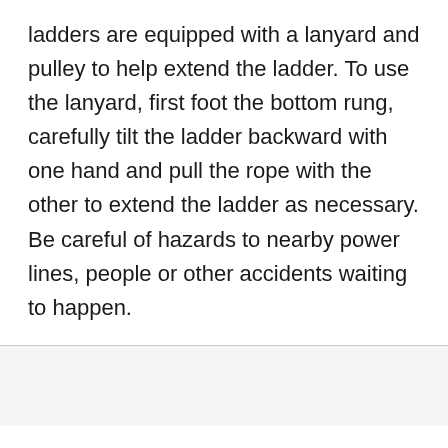ladders are equipped with a lanyard and pulley to help extend the ladder. To use the lanyard, first foot the bottom rung, carefully tilt the ladder backward with one hand and pull the rope with the other to extend the ladder as necessary. Be careful of hazards to nearby power lines, people or other accidents waiting to happen.